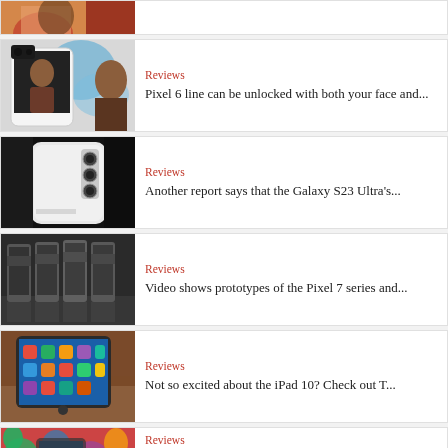[Figure (photo): Partial top card showing a person in red clothing, cropped]
[Figure (photo): Google Pixel 6 smartphone showing face unlock feature with a person reflected]
Reviews
Pixel 6 line can be unlocked with both your face and...
[Figure (photo): Samsung Galaxy S23 Ultra white/silver back showing camera lenses on dark background]
Reviews
Another report says that the Galaxy S23 Ultra's...
[Figure (photo): Multiple Google Pixel 7 series prototypes lined up showing dark grey colors]
Reviews
Video shows prototypes of the Pixel 7 series and...
[Figure (photo): iPad 10 on a wooden surface showing colorful app icons on screen]
Reviews
Not so excited about the iPad 10? Check out T...
[Figure (photo): Samsung device held by person with colorful background, partial view at bottom]
Reviews
Official Samsung video shows you h...